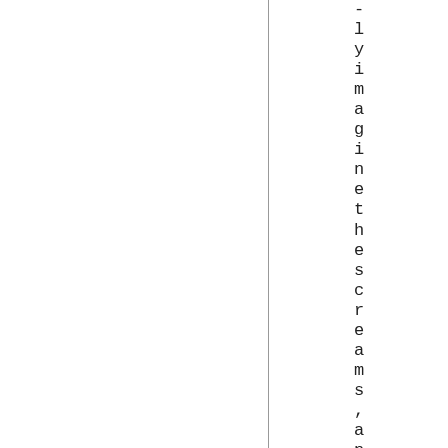- l y i m a g i n e t h e s c r e a m s , a n d p a n i c k e